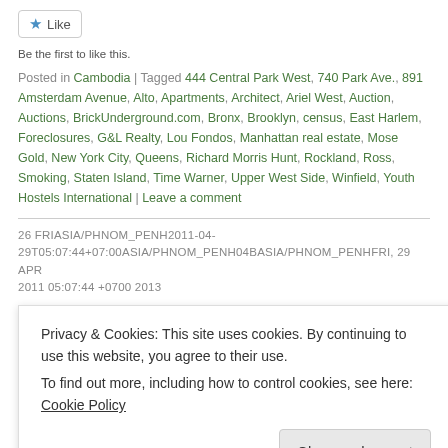Like button
Be the first to like this.
Posted in Cambodia | Tagged 444 Central Park West, 740 Park Ave., 891 Amsterdam Avenue, Alto, Apartments, Architect, Ariel West, Auction, Auctions, BrickUnderground.com, Bronx, Brooklyn, census, East Harlem, Foreclosures, G&L Realty, Lou Fondos, Manhattan real estate, Mose Gold, New York City, Queens, Richard Morris Hunt, Rockland, Ross, Smoking, Staten Island, Time Warner, Upper West Side, Winfield, Youth Hostels International | Leave a comment
26 FRIASIA/PHNOM_PENH2011-04-29T05:07:44+07:00ASIA/PHNOM_PENH04BASIA/PHNOM_PENHFRI, 29 APR 2011 05:07:44 +0700 2013
Privacy & Cookies: This site uses cookies. By continuing to use this website, you agree to their use.
To find out more, including how to control cookies, see here: Cookie Policy
Close and accept